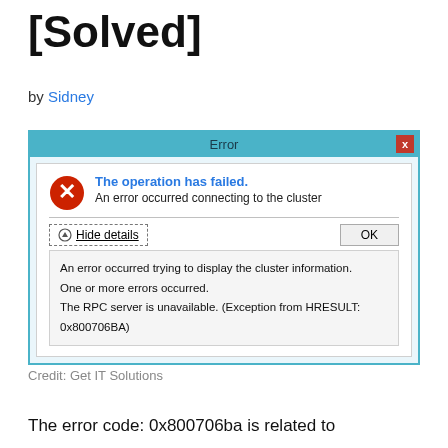[Solved]
by Sidney
[Figure (screenshot): Windows error dialog showing 'The operation has failed. An error occurred connecting to the cluster' with details: 'An error occurred trying to display the cluster information. One or more errors occurred. The RPC server is unavailable. (Exception from HRESULT: 0x800706BA)']
Credit: Get IT Solutions
The error code: 0x800706ba is related to